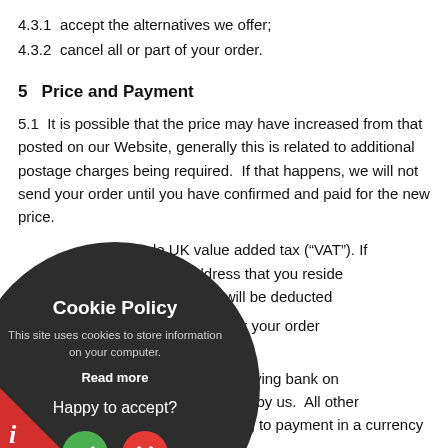4.3.1    accept the alternatives we offer;
4.3.2    cancel all or part of your order.
5    Price and Payment
5.1    It is possible that the price may have increased from that posted on our Website, generally this is related to additional postage charges being required.  If that happens, we will not send your order until you have confirmed and paid for the new price.
...de UK value added tax (“VAT”). If ...livery address that you reside ...ndom, VAT will be deducted
...be received for your order ...t can be made.
...ges by the receiving bank on ...us will be borne by us.  All other charges relating to payment in a currency other than
[Figure (other): Cookie Policy popup overlay: dark circular dialog with title 'Cookie Policy', description 'This site uses cookies to store information on your computer.', 'Read more' link, 'Happy to accept?' question, green checkmark accept button and red X reject button.]
[Figure (infographic): Red triangle info corner at bottom-left with italic 'i' icon.]